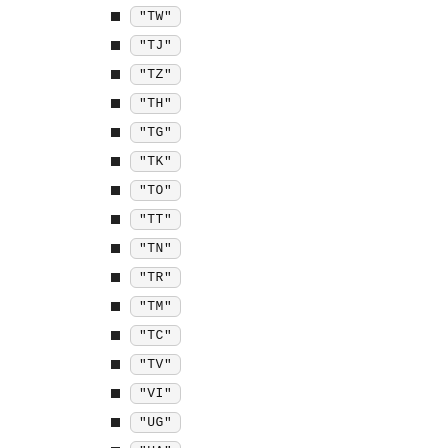"TW"
"TJ"
"TZ"
"TH"
"TG"
"TK"
"TO"
"TT"
"TN"
"TR"
"TM"
"TC"
"TV"
"VI"
"UG"
"UA"
"AE"